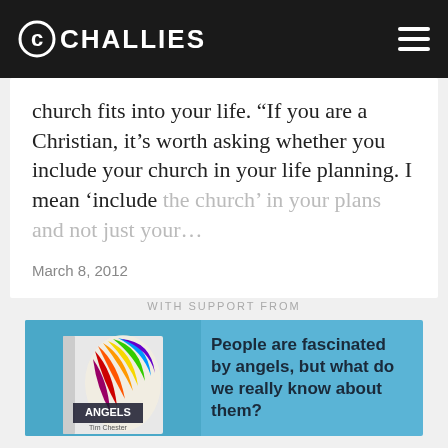CHALLIES
church fits into your life. “If you are a Christian, it’s worth asking whether you include your church in your life planning. I mean ‘include the church’ in your plans and not just your…
March 8, 2012
WITH SUPPORT FROM
[Figure (illustration): Book advertisement banner with a colorful angel wing book cover titled ANGELS by Tim Chester on a blue background, with text: People are fascinated by angels, but what do we really know about them?]